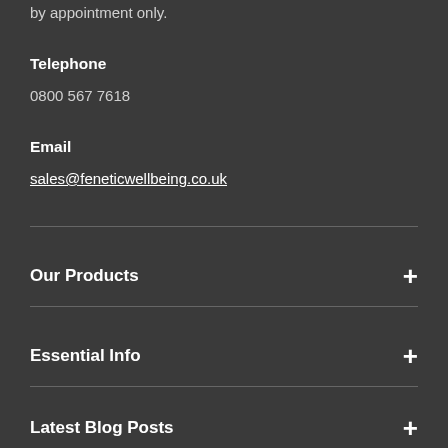by appointment only.
Telephone
0800 567 7618
Email
sales@feneticwellbeing.co.uk
Our Products
Essential Info
Latest Blog Posts